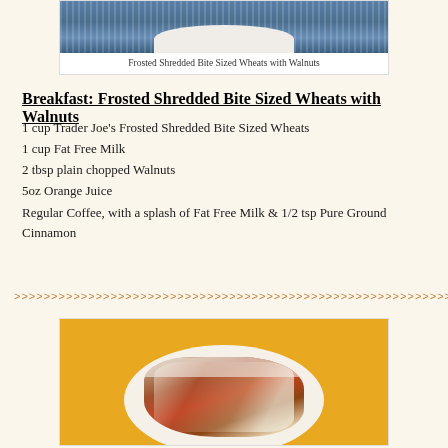[Figure (photo): Photo of Frosted Shredded Bite Sized Wheats with Walnuts in a bowl, shown from above with blue background]
Frosted Shredded Bite Sized Wheats with Walnuts
Breakfast: Frosted Shredded Bite Sized Wheats with Walnuts
1 cup Trader Joe's Frosted Shredded Bite Sized Wheats
1 cup Fat Free Milk
2 tbsp plain chopped Walnuts
5oz Orange Juice
Regular Coffee, with a splash of Fat Free Milk & 1/2 tsp Pure Ground Cinnamon
[Figure (photo): Photo of a cheesy casserole dish with tomatoes, beans, and melted cheese on a white plate with yellow background]